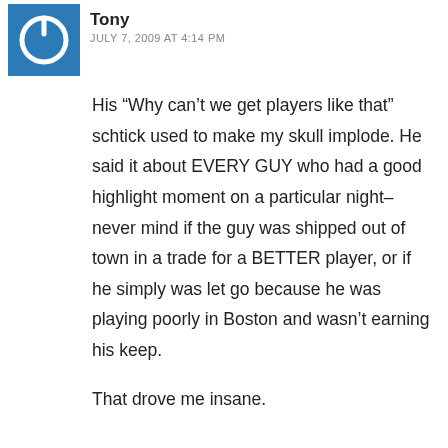[Figure (illustration): Blue square avatar with a white power button icon in the center]
Tony
JULY 7, 2009 AT 4:14 PM
His “Why can’t we get players like that” schtick used to make my skull implode. He said it about EVERY GUY who had a good highlight moment on a particular night–never mind if the guy was shipped out of town in a trade for a BETTER player, or if he simply was let go because he was playing poorly in Boston and wasn’t earning his keep.
That drove me insane.